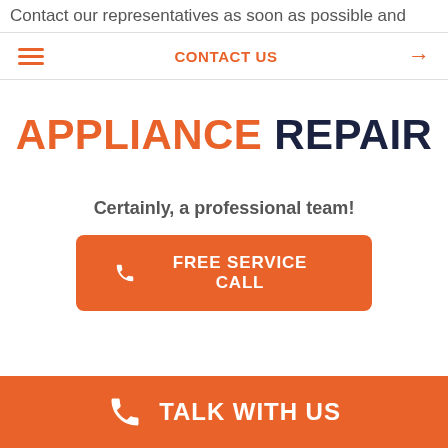Contact our representatives as soon as possible and
CONTACT US →
APPLIANCE REPAIR
Certainly, a professional team!
FREE SERVICE CALL
TALK WITH US